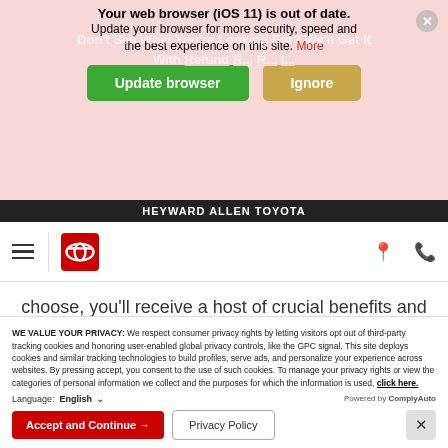[Figure (screenshot): Browser update notification banner with pink background showing 'Your web browser (iOS 11) is out of date. Update your browser for more security, speed and the best experience on this site.' with green 'Update browser' and tan 'Ignore' buttons, and an X close button.]
HEYWARD ALLEN TOYOTA
[Figure (logo): Toyota logo (red background with white ellipse symbol) and hamburger menu icon in navigation bar]
choose, you'll receive a host of crucial benefits and services that will keep your vehicle up and running once your ToyotaCare plan expires. Here is what you can expect from each individual plan:
WE VALUE YOUR PRIVACY: We respect consumer privacy rights by letting visitors opt out of third-party tracking cookies and honoring user-enabled global privacy controls, like the GPC signal. This site deploys cookies and similar tracking technologies to build profiles, serve ads, and personalize your experience across websites. By pressing accept, you consent to the use of such cookies. To manage your privacy rights or view the categories of personal information we collect and the purposes for which the information is used, click here.
Language: English
Powered by ComplyAuto
Accept and Continue →
Privacy Policy